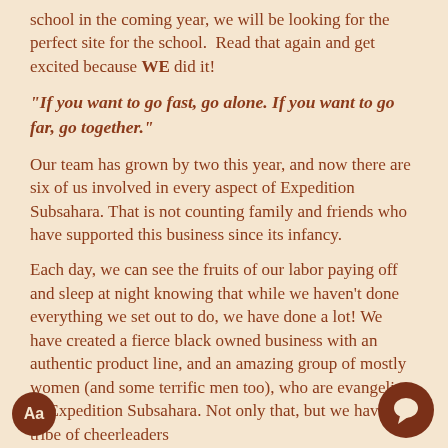school in the coming year, we will be looking for the perfect site for the school. Read that again and get excited because WE did it!
"If you want to go fast, go alone. If you want to go far, go together."
Our team has grown by two this year, and now there are six of us involved in every aspect of Expedition Subsahara. That is not counting family and friends who have supported this business since its infancy.
Each day, we can see the fruits of our labor paying off and sleep at night knowing that while we haven't done everything we set out to do, we have done a lot! We have created a fierce black owned business with an authentic product line, and an amazing group of mostly women (and some terrific men too), who are evangelists of Expedition Subsahara. Not only that, but we have a tribe of cheerleaders